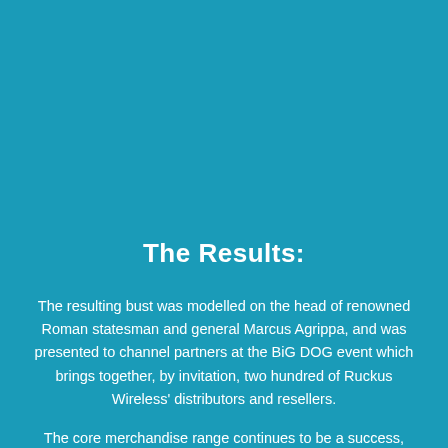The Results:
The resulting bust was modelled on the head of renowned Roman statesman and general Marcus Agrippa, and was presented to channel partners at the BiG DOG event which brings together, by invitation, two hundred of Ruckus Wireless' distributors and resellers.
The core merchandise range continues to be a success, resulting in many repeat orders, while the BiG DOGS busts were a hit at the Rome conference, fast becoming an ice-breaking talking point among delegates. "We're delighted with